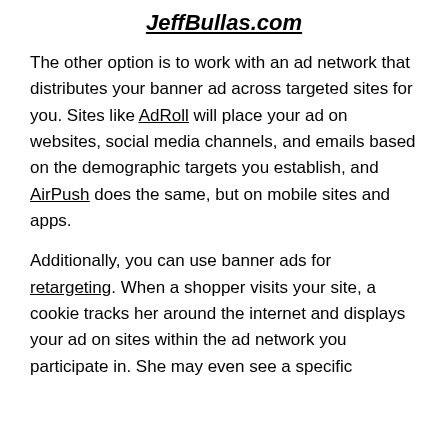JeffBullas.com
The other option is to work with an ad network that distributes your banner ad across targeted sites for you. Sites like AdRoll will place your ad on websites, social media channels, and emails based on the demographic targets you establish, and AirPush does the same, but on mobile sites and apps.
Additionally, you can use banner ads for retargeting. When a shopper visits your site, a cookie tracks her around the internet and displays your ad on sites within the ad network you participate in. She may even see a specific